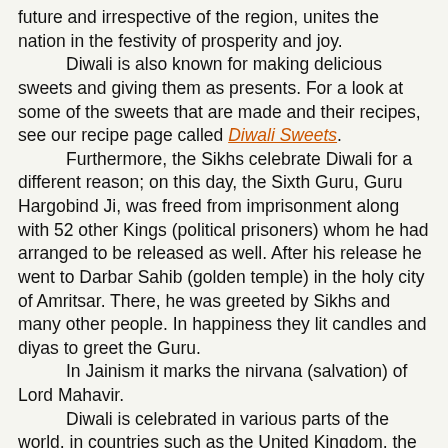future and irrespective of the region, unites the nation in the festivity of prosperity and joy.
	Diwali is also known for making delicious sweets and giving them as presents. For a look at some of the sweets that are made and their recipes, see our recipe page called Diwali Sweets.
	Furthermore, the Sikhs celebrate Diwali for a different reason; on this day, the Sixth Guru, Guru Hargobind Ji, was freed from imprisonment along with 52 other Kings (political prisoners) whom he had arranged to be released as well. After his release he went to Darbar Sahib (golden temple) in the holy city of Amritsar. There, he was greeted by Sikhs and many other people. In happiness they lit candles and diyas to greet the Guru.
	In Jainism it marks the nirvana (salvation) of Lord Mahavir.
	Diwali is celebrated in various parts of the world, in countries such as the United Kingdom, the Netherlands, New Zealand, Canada, Guyana, Mauritius, Fiji, Japan, Indonesia, Malaysia, Myanmar, Nepal, Singapore, Sri Lanka, South Africa, Trinidad, Thailand, United Arab Emirates, Australia, much of Africa, and the United States. With more and more Indians and Sri Lankans now migrating to various parts of the world, the number of countries where Diwali is celebrated has been gradually increasing. While in some